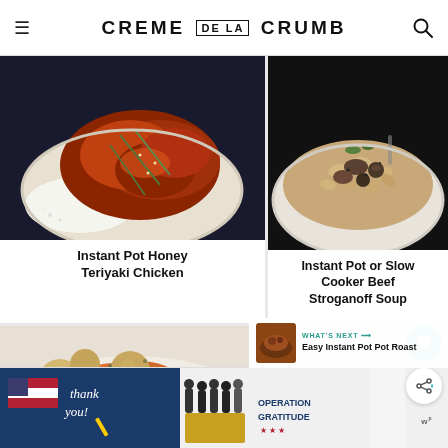CREME DE LA CRUMB
[Figure (photo): Bowl of Instant Pot Honey Teriyaki Chicken with white rice and green onions]
Instant Pot Honey Teriyaki Chicken
[Figure (photo): Bowl of Instant Pot or Slow Cooker Beef Stroganoff Soup with pasta and mushrooms]
Instant Pot or Slow Cooker Beef Stroganoff Soup
[Figure (photo): Partial view of a bowl with carrots, potatoes, and other vegetables]
[Figure (photo): What's Next thumbnail - Easy Instant Pot Pot Roast]
WHAT'S NEXT → Easy Instant Pot Pot Roast
[Figure (photo): Advertisement banner - Thank you Operation Gratitude with firefighters]